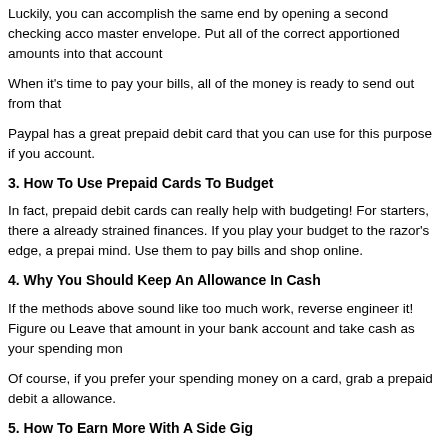Luckily, you can accomplish the same end by opening a second checking account as your master envelope. Put all of the correct apportioned amounts into that account
When it's time to pay your bills, all of the money is ready to send out from that
Paypal has a great prepaid debit card that you can use for this purpose if you account.
3. How To Use Prepaid Cards To Budget
In fact, prepaid debit cards can really help with budgeting! For starters, there a already strained finances. If you play your budget to the razor's edge, a prepa mind. Use them to pay bills and shop online.
4. Why You Should Keep An Allowance In Cash
If the methods above sound like too much work, reverse engineer it! Figure ou Leave that amount in your bank account and take cash as your spending mon
Of course, if you prefer your spending money on a card, grab a prepaid debit a allowance.
5. How To Earn More With A Side Gig
Depending on your talents, you may find a side job is a great way to budget si with. Websites like Fiverr, Upwork, and People Per Hour make it relatively eas you can do from home. You can even monetize your photos through platforms